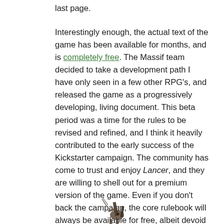last page.
Interestingly enough, the actual text of the game has been available for months, and is completely free. The Massif team decided to take a development path I have only seen in a few other RPG's, and released the game as a progressively developing, living document. This beta period was a time for the rules to be revised and refined, and I think it heavily contributed to the early success of the Kickstarter campaign. The community has come to trust and enjoy Lancer, and they are willing to shell out for a premium version of the game. Even if you don't back the campaign, the core rulebook will always be available for free, albeit devoid of some of the art and layout which makes Lancer so magical.
[Figure (illustration): Partial illustration of a mech/robot figure visible at the bottom of the page]